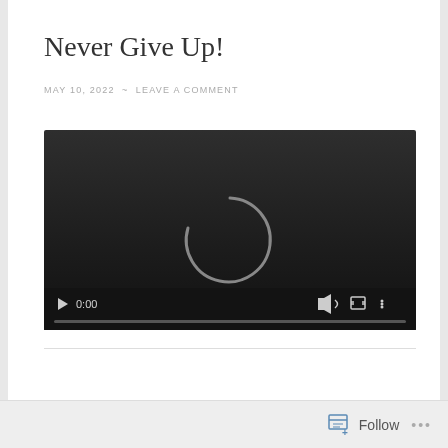Never Give Up!
MAY 10, 2022  ~  LEAVE A COMMENT
[Figure (screenshot): Embedded video player showing a loading spinner, with controls showing 0:00 timestamp, play button, volume, fullscreen, and more options icons on a dark background.]
Follow  ...